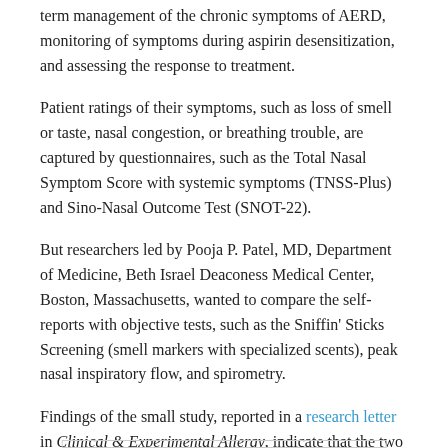term management of the chronic symptoms of AERD, monitoring of symptoms during aspirin desensitization, and assessing the response to treatment.
Patient ratings of their symptoms, such as loss of smell or taste, nasal congestion, or breathing trouble, are captured by questionnaires, such as the Total Nasal Symptom Score with systemic symptoms (TNSS-Plus) and Sino-Nasal Outcome Test (SNOT-22).
But researchers led by Pooja P. Patel, MD, Department of Medicine, Beth Israel Deaconess Medical Center, Boston, Massachusetts, wanted to compare the self-reports with objective tests, such as the Sniffin' Sticks Screening (smell markers with specialized scents), peak nasal inspiratory flow, and spirometry.
Findings of the small study, reported in a research letter in Clinical & Experimental Allergy, indicate that the two sets of indicators correlate well.